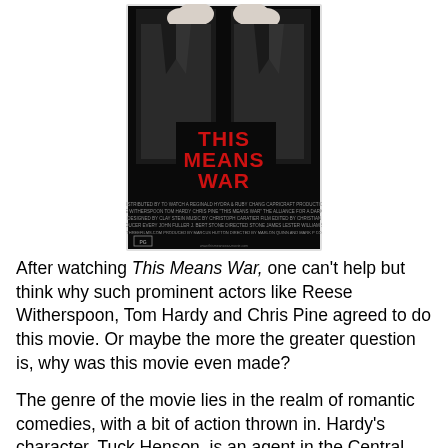[Figure (photo): Movie poster for 'This Means War' showing two men in dark suits with white gloves, with bold red text reading THIS MEANS WAR on a black background. Credits text appears at the bottom.]
After watching This Means War, one can't help but think why such prominent actors like Reese Witherspoon, Tom Hardy and Chris Pine agreed to do this movie. Or maybe the more the greater question is, why was this movie even made?
The genre of the movie lies in the realm of romantic comedies, with a bit of action thrown in. Hardy's character, Tuck Henson, is an agent in the Central Intelligence Agency. His coworker and best friend, FDR Foster, portrayed by Pine, also is a CIA agent.
The film, directed by McG (Terminator Salvation, We Are